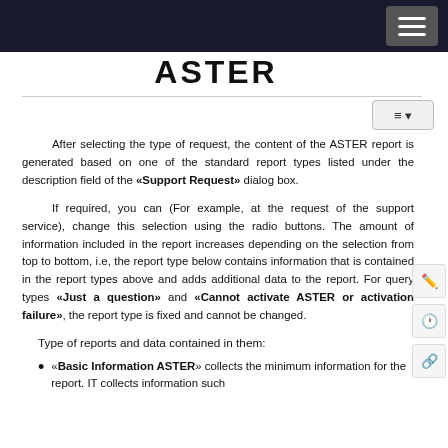ASTER
After selecting the type of request, the content of the ASTER report is generated based on one of the standard report types listed under the description field of the «Support Request» dialog box.
If required, you can (For example, at the request of the support service), change this selection using the radio buttons. The amount of information included in the report increases depending on the selection from top to bottom, i.e, the report type below contains information that is contained in the report types above and adds additional data to the report. For query types «Just a question» and «Cannot activate ASTER or activation failure», the report type is fixed and cannot be changed.
Type of reports and data contained in them:
«Basic Information ASTER» collects the minimum information for the report. IT collects information such